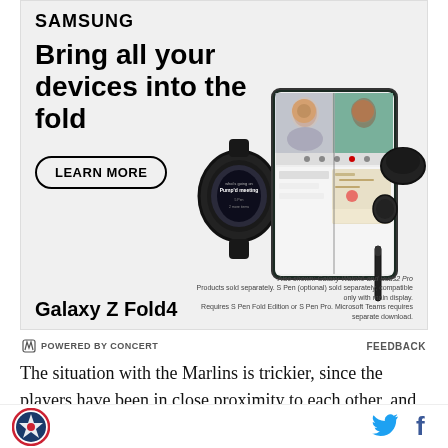[Figure (advertisement): Samsung Galaxy Z Fold4 advertisement. Shows Samsung logo, tagline 'Bring all your devices into the fold', a 'LEARN MORE' button, product images of Galaxy Z Fold4 phone open showing video call, Galaxy Watch6, Buds2 Pro, and S Pen. Bottom text reads 'Galaxy Z Fold4' and fine print about accessories.]
Also shown: Galaxy Watch6 and Buds2 Pro
Products sold separately. S Pen (optional) sold separately, compatible only with main display. Requires S Pen Fold Edition or S Pen Pro. Microsoft Teams requires separate download.
POWERED BY CONCERT   FEEDBACK
The situation with the Marlins is trickier, since the players have been in close proximity to each other, and there's no guarantee someone hasn't contracted it that
[Figure (logo): SB Nation star logo with circular design in red, blue and white]
[Figure (infographic): Twitter bird icon in blue and Facebook f icon in dark blue]